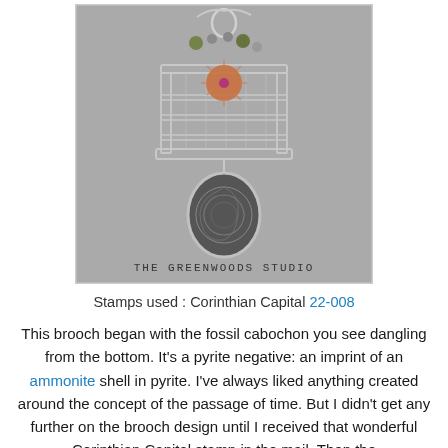[Figure (photo): A silver wire-work brooch photographed on gray fabric. The brooch features a Corinthian capital filigree structure at the top, with a sunburst/starburst element and a small purple gemstone in the center. At the bottom dangles an oval cabochon containing a pyrite ammonite fossil impression. Above the brooch are wire loops and small decorative beads. The text 'THE GREENWOODS STUDIO' is printed at the bottom of the photo.]
Stamps used : Corinthian Capital 22-008
This brooch began with the fossil cabochon you see dangling from the bottom. It's a pyrite negative: an imprint of an ammonite shell in pyrite. I've always liked anything created around the concept of the passage of time. But I didn't get any further on the brooch design until I received that wonderful Corinthian Capital stamp in the mail. Then the